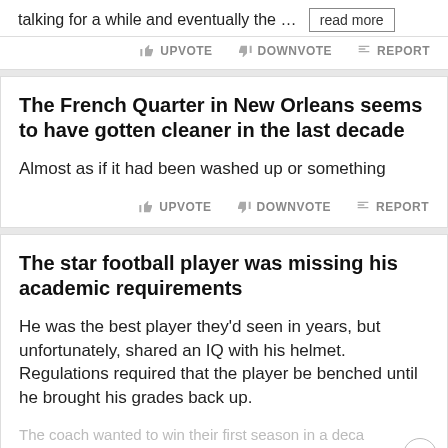talking for a while and eventually the …
UPVOTE   DOWNVOTE   REPORT
The French Quarter in New Orleans seems to have gotten cleaner in the last decade
Almost as if it had been washed up or something
UPVOTE   DOWNVOTE   REPORT
The star football player was missing his academic requirements
He was the best player they'd seen in years, but unfortunately, shared an IQ with his helmet. Regulations required that the player be benched until he brought his grades back up.
The coach wanted to win their first season in a decade... season...
[Figure (infographic): Disney Bundle advertisement banner: hulu, Disney+, ESPN+ logos with 'GET THE DISNEY BUNDLE' CTA button and fine print about Hulu and Disney services. ©2021 Disney and its related entities.]
UPVOTE   DOWNVOTE   REPORT